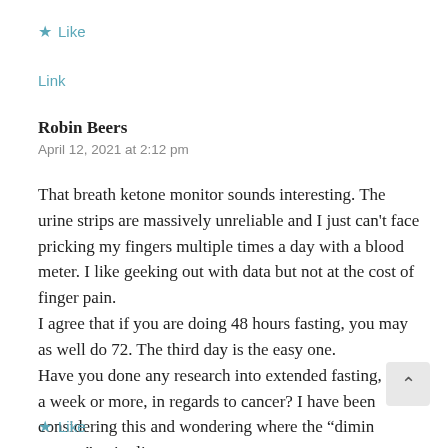★ Like
Link
Robin Beers
April 12, 2021 at 2:12 pm
That breath ketone monitor sounds interesting. The urine strips are massively unreliable and I just can't face pricking my fingers multiple times a day with a blood meter. I like geeking out with data but not at the cost of finger pain.
I agree that if you are doing 48 hours fasting, you may as well do 72. The third day is the easy one.
Have you done any research into extended fasting, say a week or more, in regards to cancer? I have been considering this and wondering where the “dimin returns” point lies.
★ Like